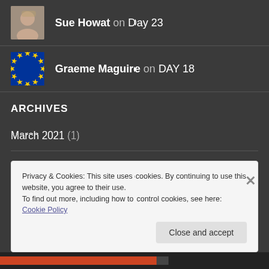Sue Howat on Day 23
Graeme Maguire on DAY 18
ARCHIVES
March 2021 (1)
February 2017 (12)
January 2017 (44)
Privacy & Cookies: This site uses cookies. By continuing to use this website, you agree to their use.
To find out more, including how to control cookies, see here: Cookie Policy
Close and accept